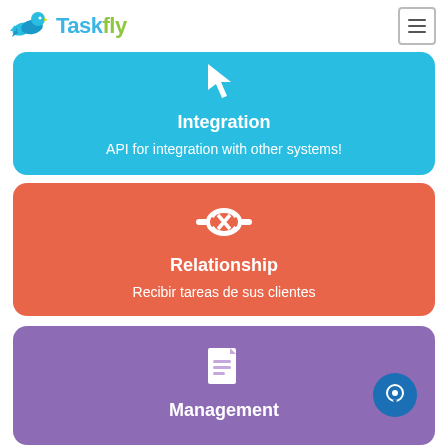Taskfly
[Figure (infographic): Blue rounded card with integration icon (cursor arrow), title 'Integration', description 'API for integration with other systems!']
[Figure (infographic): Orange rounded card with handshake icon, title 'Relationship', description 'Recibir tareas de sus clientes']
[Figure (infographic): Purple rounded card with document/notes icon, title 'Management', partially visible at bottom of page]